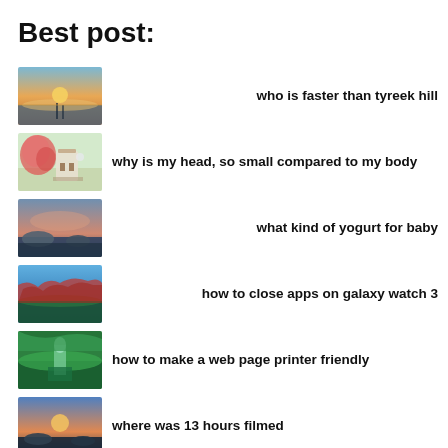Best post:
who is faster than tyreek hill
why is my head, so small compared to my body
what kind of yogurt for baby
how to close apps on galaxy watch 3
how to make a web page printer friendly
where was 13 hours filmed